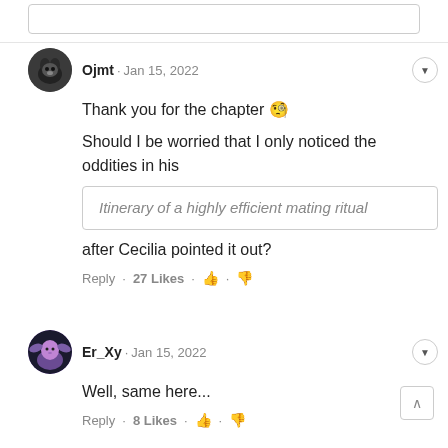[Figure (screenshot): Comment section screenshot with two user comments.]
Ojmt · Jan 15, 2022
Thank you for the chapter 🤯
Should I be worried that I only noticed the oddities in his
Itinerary of a highly efficient mating ritual
after Cecilia pointed it out?
Reply · 27 Likes · 👍 · 👎
Er_Xy · Jan 15, 2022
Well, same here...
Reply · 8 Likes · 👍 · 👎